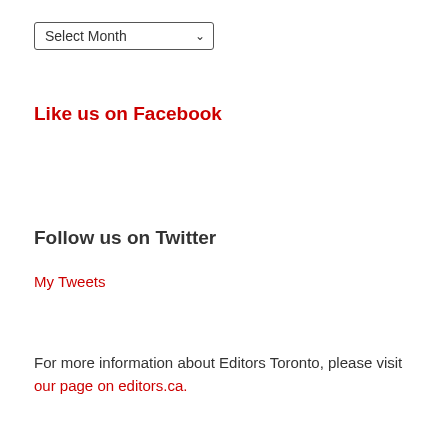[Figure (other): A dropdown selector widget labeled 'Select Month' with a downward arrow]
Like us on Facebook
Follow us on Twitter
My Tweets
For more information about Editors Toronto, please visit our page on editors.ca.